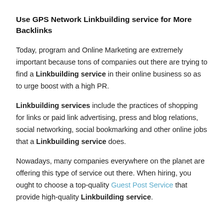Use GPS Network Linkbuilding service for More Backlinks
Today, program and Online Marketing are extremely important because tons of companies out there are trying to find a Linkbuilding service in their online business so as to urge boost with a high PR.
Linkbuilding services include the practices of shopping for links or paid link advertising, press and blog relations, social networking, social bookmarking and other online jobs that a Linkbuilding service does.
Nowadays, many companies everywhere on the planet are offering this type of service out there. When hiring, you ought to choose a top-quality Guest Post Service that provide high-quality Linkbuilding service.